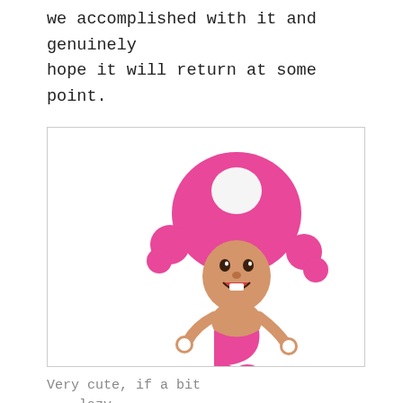we accomplished with it and genuinely hope it will return at some point.
[Figure (illustration): Toadette (pink mushroom-head female character) sitting atop Toad (white mushroom-head male character with red spots and blue/yellow vest) — Nintendo Mario characters stacked together, rendered in 3D style against white background.]
Very cute, if a bit
      lazy.
Finally, I want to thank my amazing partner who has supported me every step